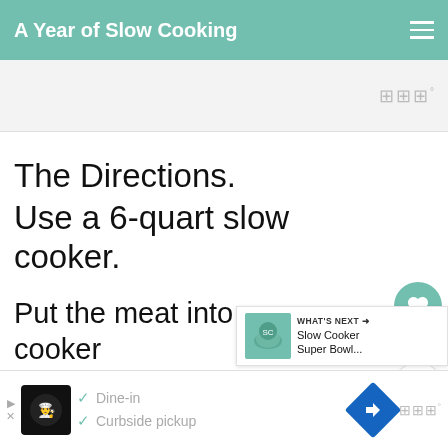A Year of Slow Cooking
[Figure (other): Advertisement banner placeholder with unit icon top right]
The Directions.
Use a 6-quart slow cooker.
Put the meat into your cooker (frozen is okay).
Top with sliced onion, and all the
[Figure (other): WHAT'S NEXT banner with Slow Cooker Super Bowl... thumbnail]
[Figure (other): Advertisement bottom banner with Dine-in and Curbside pickup options]